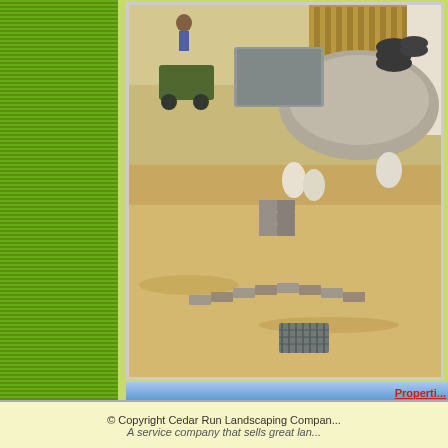[Figure (photo): Landscaping work-in-progress photo showing a backyard patio construction area with pavers/bricks being laid in a curved pattern, gravel pile, bags of material, wheelbarrow, and a sandy/dirt ground surface with a drain grate visible in the foreground.]
Properti...
Name: Patio (Right) - Before
Description:
© Copyright Cedar Run Landscaping Compan... A service company that sells great lan...